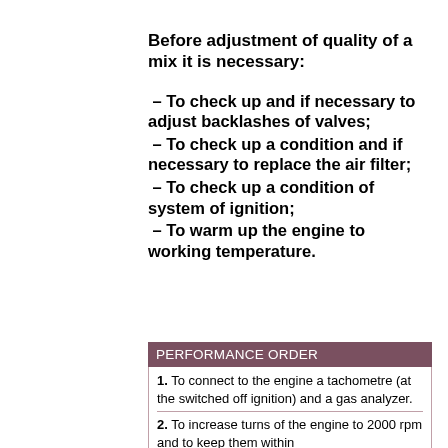Before adjustment of quality of a mix it is necessary:
– To check up and if necessary to adjust backlashes of valves;
– To check up a condition and if necessary to replace the air filter;
– To check up a condition of system of ignition;
– To warm up the engine to working temperature.
PERFORMANCE ORDER
1. To connect to the engine a tachometre (at the switched off ignition) and a gas analyzer.
2. To increase turns of the engine to 2000 rpm and to keep them within